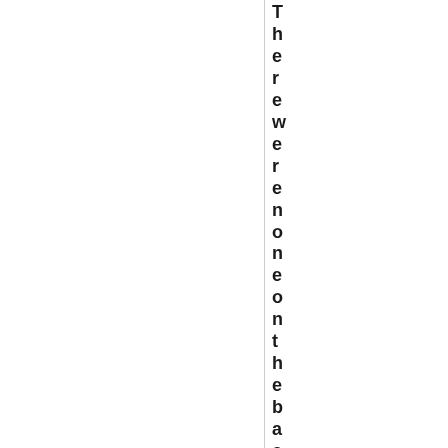There were none on the back of my legs